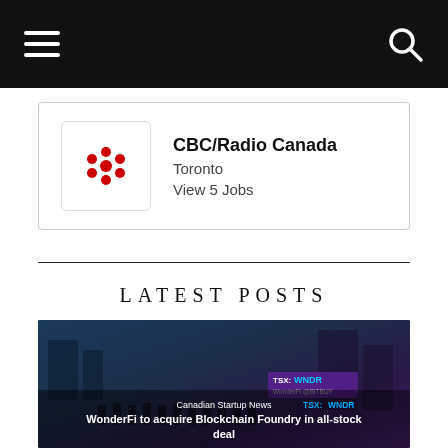Navigation bar with hamburger menu and search icon
CBC/Radio Canada
Toronto
View 5 Jobs
LATEST POSTS
[Figure (photo): Photo of WonderFi team at TSX stock exchange event with TSX:WNDR display. Overlay text: 'Canadian Startup News' and headline 'WonderFi to acquire Blockchain Foundry in all-stock deal']